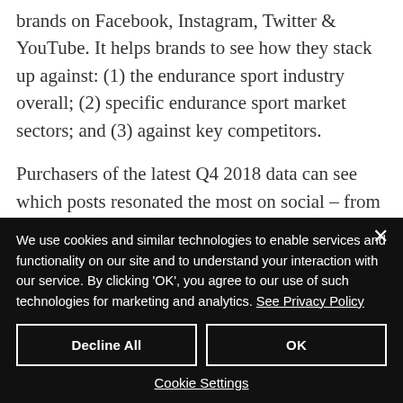brands on Facebook, Instagram, Twitter & YouTube. It helps brands to see how they stack up against: (1) the endurance sport industry overall; (2) specific endurance sport market sectors; and (3) against key competitors.
Purchasers of the latest Q4 2018 data can see which posts resonated the most on social – from those that seek
We use cookies and similar technologies to enable services and functionality on our site and to understand your interaction with our service. By clicking 'OK', you agree to our use of such technologies for marketing and analytics. See Privacy Policy
Decline All
OK
Cookie Settings